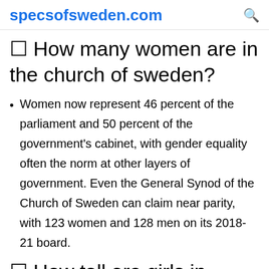specsofsweden.com
☐ How many women are in the church of sweden?
Women now represent 46 percent of the parliament and 50 percent of the government's cabinet, with gender equality often the norm at other layers of government. Even the General Synod of the Church of Sweden can claim near parity, with 123 women and 128 men on its 2018-21 board.
☐ How tall are girls in